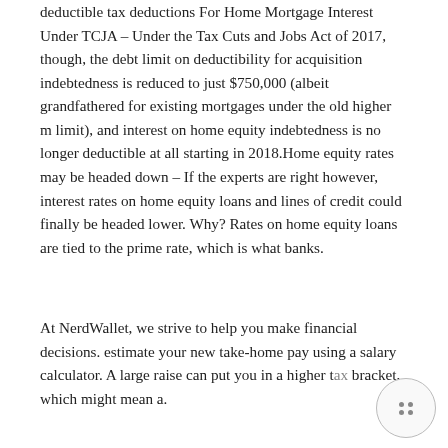deductible tax deductions For Home Mortgage Interest Under TCJA – Under the Tax Cuts and Jobs Act of 2017, though, the debt limit on deductibility for acquisition indebtedness is reduced to just $750,000 (albeit grandfathered for existing mortgages under the old higher m limit), and interest on home equity indebtedness is no longer deductible at all starting in 2018.Home equity rates may be headed down – If the experts are right however, interest rates on home equity loans and lines of credit could finally be headed lower. Why? Rates on home equity loans are tied to the prime rate, which is what banks.
At NerdWallet, we strive to help you make financial decisions. estimate your new take-home pay using a salary calculator. A large raise can put you in a higher tax bracket, which might mean a.